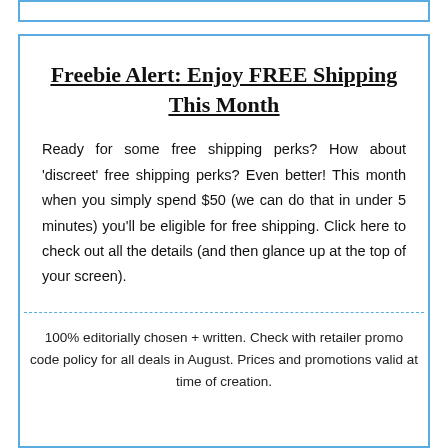Freebie Alert: Enjoy FREE Shipping This Month
Ready for some free shipping perks? How about 'discreet' free shipping perks? Even better! This month when you simply spend $50 (we can do that in under 5 minutes) you'll be eligible for free shipping. Click here to check out all the details (and then glance up at the top of your screen).
100% editorially chosen + written. Check with retailer promo code policy for all deals in August. Prices and promotions valid at time of creation.